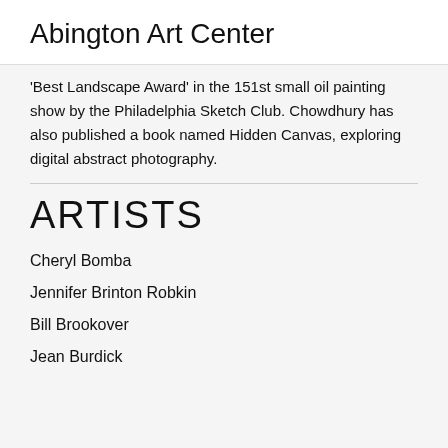Abington Art Center
Best Landscape Award in the 151st small oil painting show by the Philadelphia Sketch Club. Chowdhury has also published a book named Hidden Canvas, exploring digital abstract photography.
ARTISTS
Cheryl Bomba
Jennifer Brinton Robkin
Bill Brookover
Jean Burdick